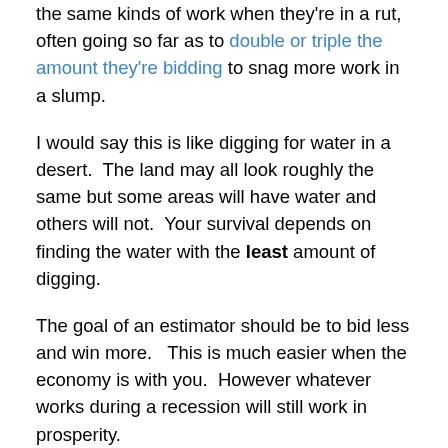the same kinds of work when they're in a rut, often going so far as to double or triple the amount they're bidding to snag more work in a slump.
I would say this is like digging for water in a desert.  The land may all look roughly the same but some areas will have water and others will not.  Your survival depends on finding the water with the least amount of digging.
The goal of an estimator should be to bid less and win more.   This is much easier when the economy is with you.  However whatever works during a recession will still work in prosperity.
If you are serious about improving your odds,  you've got to actually know the odds.  Everything you bid adds to your repository of knowledge about your performance in your market.  Making that information work for you is what